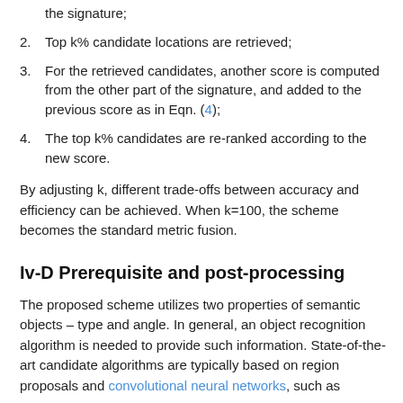the signature;
2. Top k% candidate locations are retrieved;
3. For the retrieved candidates, another score is computed from the other part of the signature, and added to the previous score as in Eqn. (4);
4. The top k% candidates are re-ranked according to the new score.
By adjusting k, different trade-offs between accuracy and efficiency can be achieved. When k=100, the scheme becomes the standard metric fusion.
Iv-D Prerequisite and post-processing
The proposed scheme utilizes two properties of semantic objects – type and angle. In general, an object recognition algorithm is needed to provide such information. State-of-the-art candidate algorithms are typically based on region proposals and convolutional neural networks, such as